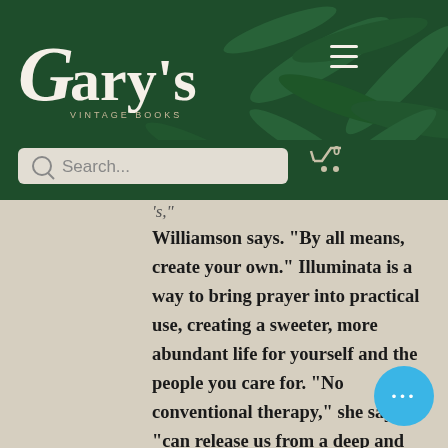[Figure (screenshot): Gary's Vintage Books website header with dark green background, fern leaf decoration, logo, hamburger menu, and search bar with cart icon]
Read my prayers or someone else's, Williamson says. "By all means, create your own." Illuminata is a way to bring prayer into practical use, creating a sweeter, more abundant life for yourself and the people you care for. "No conventional therapy," she says, "can release us from a deep and abiding psychic pain. Through prayer we find what we cannot find elsewhere: a p... that is not of this world."